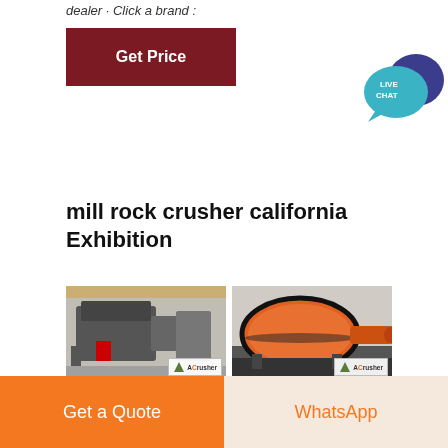dealer · Click a brand :
Get Price
[Figure (illustration): Live chat speech bubble icon with 'LIVE CHAT' text in teal/blue colors]
mill rock crusher california Exhibition
[Figure (photo): Industrial crusher machine (dark grey, jaw crusher type) in a factory/warehouse setting, with ACrusher logo badge in bottom right]
[Figure (photo): Large orange cylindrical ball mill machine in industrial setting, with ACrusher logo badge in bottom right]
[Figure (photo): Industrial milling equipment with orange/yellow drum, partially visible at bottom of page, with ACrusher logo badge]
[Figure (photo): Industrial cement/vertical mill structure, partially visible at bottom of page, with ACrusher logo badge]
Get a Quote
WhatsApp